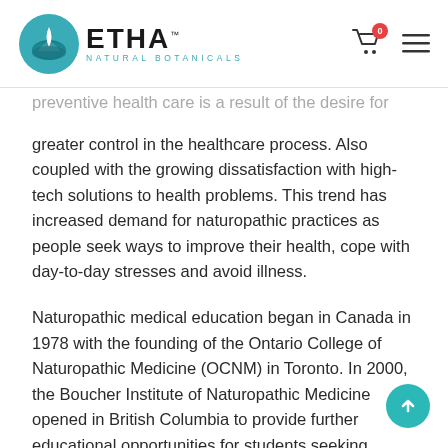ETHA Natural Botanicals
preventive health care is a result of the desire for greater control in the healthcare process. Also coupled with the growing dissatisfaction with high-tech solutions to health problems. This trend has increased demand for naturopathic practices as people seek ways to improve their health, cope with day-to-day stresses and avoid illness.
Naturopathic medical education began in Canada in 1978 with the founding of the Ontario College of Naturopathic Medicine (OCNM) in Toronto. In 2000, the Boucher Institute of Naturopathic Medicine opened in British Columbia to provide further educational opportunities for students seeking...